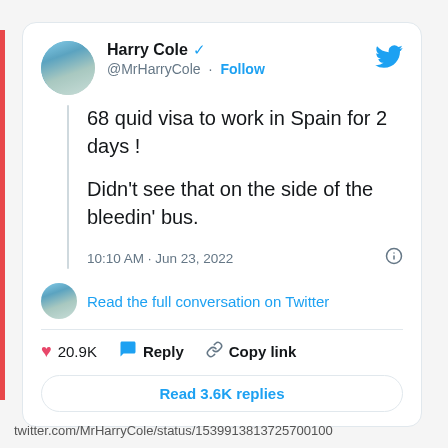[Figure (screenshot): Twitter/X screenshot of a tweet by Harry Cole (@MrHarryCole) with blue verified checkmark. Tweet text: '68 quid visa to work in Spain for 2 days ! Didn't see that on the side of the bleedin' bus.' Posted at 10:10 AM · Jun 23, 2022. Shows 20.9K likes, Reply, Copy link actions, and Read 3.6K replies button.]
twitter.com/MrHarryCole/status/1539913813725700100